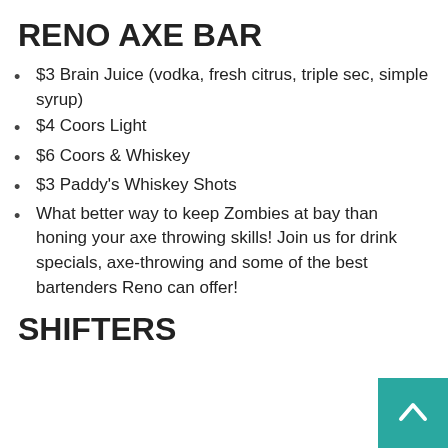RENO AXE BAR
$3 Brain Juice (vodka, fresh citrus, triple sec, simple syrup)
$4 Coors Light
$6 Coors & Whiskey
$3 Paddy's Whiskey Shots
What better way to keep Zombies at bay than honing your axe throwing skills! Join us for drink specials, axe-throwing and some of the best bartenders Reno can offer!
SHIFTERS